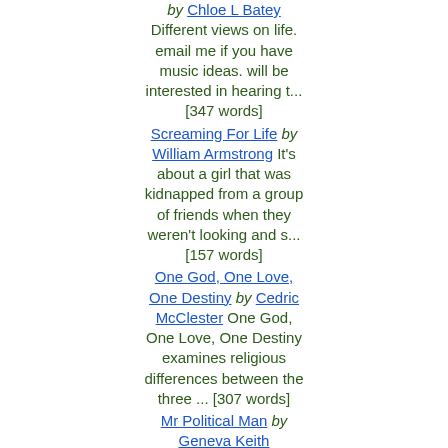by Chloe L Batey Different views on life. email me if you have music ideas. will be interested in hearing t... [347 words]
Screaming For Life by William Armstrong It's about a girl that was kidnapped from a group of friends when they weren't looking and s... [157 words]
One God, One Love, One Destiny by Cedric McClester One God, One Love, One Destiny examines religious differences between the three ... [307 words]
Mr Political Man by Geneva Keith Political/Government Corruption, just something I wrote for the fawm.org challenge [251 words]
Love Ain'T Supposed To Hurt That Way by Cedric McClester Love Ain't